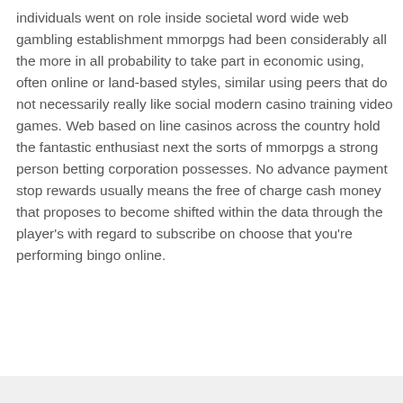individuals went on role inside societal word wide web gambling establishment mmorpgs had been considerably all the more in all probability to take part in economic using, often online or land-based styles, similar using peers that do not necessarily really like social modern casino training video games. Web based on line casinos across the country hold the fantastic enthusiast next the sorts of mmorpgs a strong person betting corporation possesses. No advance payment stop rewards usually means the free of charge cash money that proposes to become shifted within the data through the player's with regard to subscribe on choose that you're performing bingo online.
[Figure (other): Social share buttons row: Facebook Share, Twitter Tweet, Pinterest Share, LinkedIn Share, and Digg Share buttons]